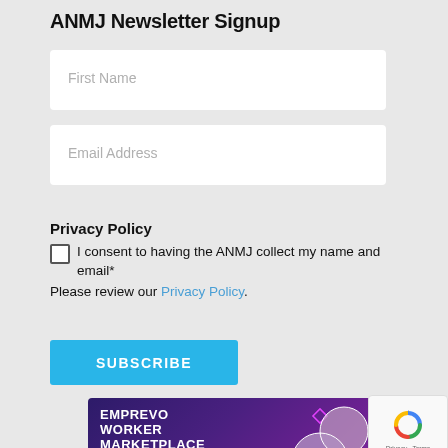ANMJ Newsletter Signup
First Name
Email Address
Privacy Policy
I consent to having the ANMJ collect my name and email*
Please review our Privacy Policy.
SUBSCRIBE
[Figure (infographic): EMPREVO WORKER MARKETPLACE advertisement banner with dark purple background, circular profile photos of workers, decorative chevron patterns, and text 'Connect to your']
[Figure (logo): Google reCAPTCHA badge with spinning arrow logo and Privacy - Terms text]